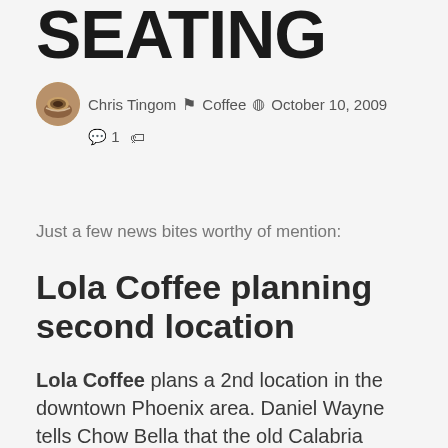SEATING
Chris Tingom  Coffee  October 10, 2009  1
Just a few news bites worthy of mention:
Lola Coffee planning second location
Lola Coffee plans a 2nd location in the downtown Phoenix area. Daniel Wayne tells Chow Bella that the old Calabria Italian Deli space in the Gold Spot building (Roosevelt and 3rd Ave.) will be the home of their baking and meeting operations. They have...